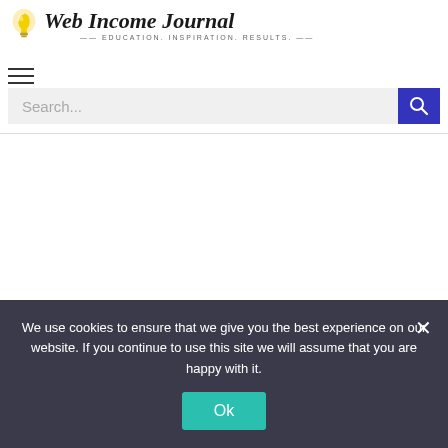[Figure (logo): Web Income Journal logo with lightbulb icon and italic script text, tagline: EDUCATION. INSPIRATION. RESULTS.]
[Figure (other): Hamburger menu icon (three horizontal lines)]
Search...
Do you run a blog? If so, there's a high chance you want to make money from it.
We use cookies to ensure that we give you the best experience on our website. If you continue to use this site we will assume that you are happy with it.